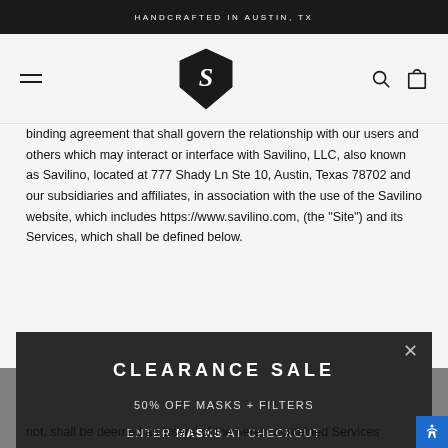HANDCRAFTED IN AUSTIN, TX
[Figure (logo): Savilino logo: stylized S inside a shield/hexagon shape, navigation with hamburger menu, search, and cart icons]
binding agreement that shall govern the relationship with our users and others which may interact or interface with Savilino, LLC, also known as Savilino, located at 777 Shady Ln Ste 10, Austin, Texas 78702 and our subsidiaries and affiliates, in association with the use of the Savilino website, which includes https://www.savilino.com, (the "Site") and its Services, which shall be defined below.
DESCRIPTION OF WEBSITE SERVICES OFFERED:
[Figure (other): Clearance Sale promotional modal popup with dark background showing: CLEARANCE SALE, 50% OFF MASKS + FILTERS, ENTER MASKS AT CHECKOUT, with close X button]
not, shall be deemed as 'users' of the herein contained Services